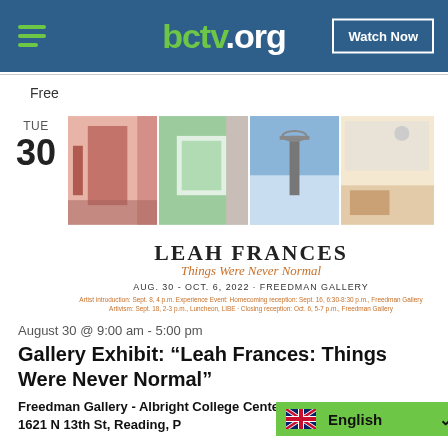bctv.org  Watch Now
Free
TUE
30
[Figure (photo): Gallery exhibit promotional image for Leah Frances: Things Were Never Normal, Aug. 30 - Oct. 6, 2022, Freedman Gallery. Four photos of interior and outdoor scenes above title text.]
August 30 @ 9:00 am - 5:00 pm
Gallery Exhibit: “Leah Frances: Things Were Never Normal”
Freedman Gallery - Albright College Center for the Arts
1621 N 13th St, Reading, P...